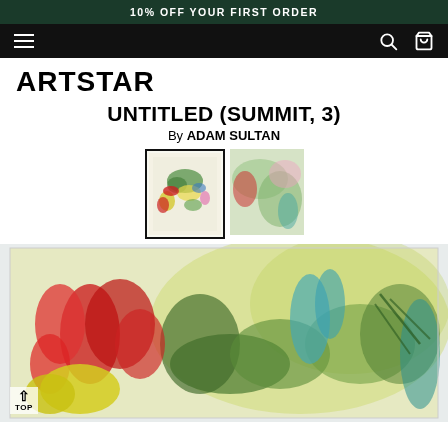10% OFF YOUR FIRST ORDER
[Figure (screenshot): Navigation bar with hamburger menu icon on left and search/bag icons on right, black background]
ARTSTAR
UNTITLED (SUMMIT, 3)
By ADAM SULTAN
[Figure (photo): Two thumbnail images of the artwork: left thumbnail selected with black border showing colorful abstract painting, right thumbnail showing close-up detail]
[Figure (photo): Main large artwork image showing abstract colorful painting with red, green, yellow brushstrokes on light background, framed in white]